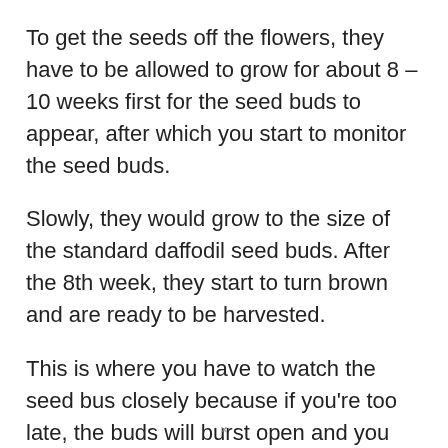To get the seeds off the flowers, they have to be allowed to grow for about 8 – 10 weeks first for the seed buds to appear, after which you start to monitor the seed buds.
Slowly, they would grow to the size of the standard daffodil seed buds. After the 8th week, they start to turn brown and are ready to be harvested.
This is where you have to watch the seed bus closely because if you're too late, the buds will burst open and you might lose the seeds.
Also check out this article I wrote on can worker